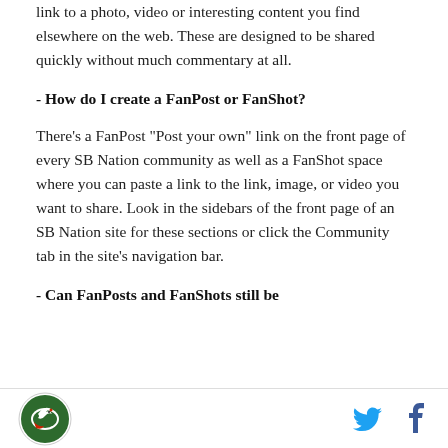link to a photo, video or interesting content you find elsewhere on the web. These are designed to be shared quickly without much commentary at all.
- How do I create a FanPost or FanShot?
There's a FanPost "Post your own" link on the front page of every SB Nation community as well as a FanShot space where you can paste a link to the link, image, or video you want to share. Look in the sidebars of the front page of an SB Nation site for these sections or click the Community tab in the site's navigation bar.
- Can FanPosts and FanShots still be
Logo and social icons